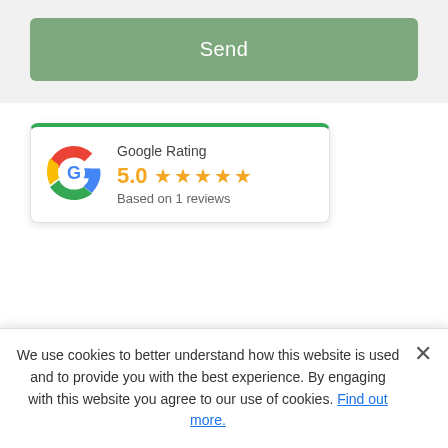[Figure (other): Green 'Send' button on light grey background]
[Figure (other): Google Rating widget card showing 5.0 stars based on 1 review, with Google G logo and green top border]
Serving Syracuse, Central New York and neighboring...
We use cookies to better understand how this website is used and to provide you with the best experience. By engaging with this website you agree to our use of cookies. Find out more.